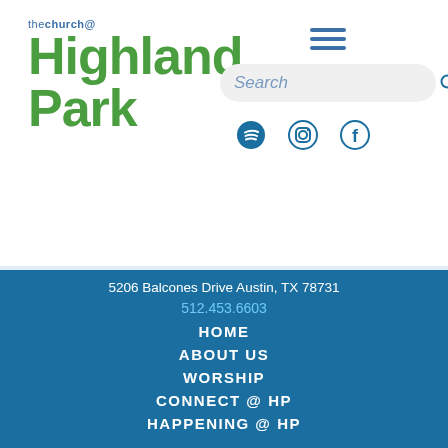[Figure (logo): The Church @ Highland Park logo — 'the church@' in blue text above 'Highland Park' in large bold green letters]
[Figure (other): Hamburger menu icon (three horizontal blue lines) and search bar with italic 'Search' placeholder text and search magnifier icon, plus Spotify, Instagram, and Facebook social icons]
5206 Balcones Drive Austin, TX 78731
512.453.6603
HOME
ABOUT US
WORSHIP
CONNECT @ HP
HAPPENING @ HP